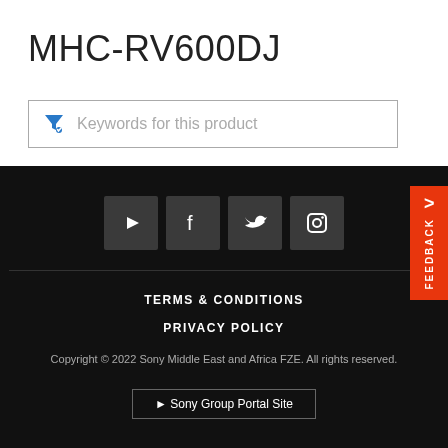MHC-RV600DJ
Keywords for this product
[Figure (screenshot): Footer section with social media icons (YouTube, Facebook, Twitter, Instagram), Terms & Conditions, Privacy Policy links, copyright notice, and Sony Group Portal Site button. A red FEEDBACK tab appears on the right side.]
TERMS & CONDITIONS
PRIVACY POLICY
Copyright © 2022 Sony Middle East and Africa FZE. All rights reserved.
► Sony Group Portal Site